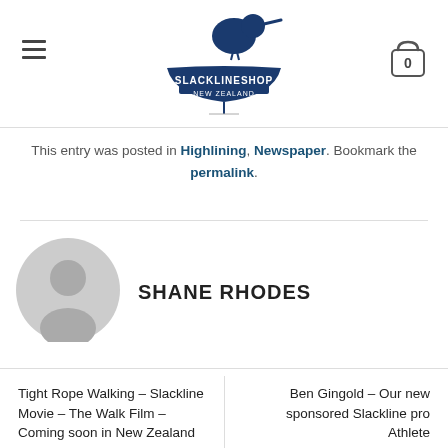SLACKLINESHOP NEW ZEALAND
This entry was posted in Highlining, Newspaper. Bookmark the permalink.
[Figure (illustration): Gray placeholder avatar icon of a person silhouette]
SHANE RHODES
Tight Rope Walking – Slackline Movie – The Walk Film – Coming soon in New Zealand
Ben Gingold – Our new sponsored Slackline pro Athlete